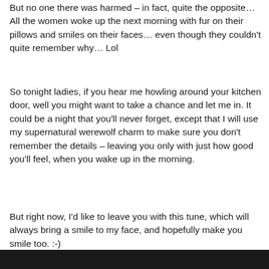But no one there was harmed – in fact, quite the opposite… All the women woke up the next morning with fur on their pillows and smiles on their faces… even though they couldn't quite remember why… Lol
So tonight ladies, if you hear me howling around your kitchen door, well you might want to take a chance and let me in. It could be a night that you'll never forget, except that I will use my supernatural werewolf charm to make sure you don't remember the details – leaving you only with just how good you'll feel, when you wake up in the morning.
But right now, I'd like to leave you with this tune, which will always bring a smile to my face, and hopefully make you smile too. :-)
[Figure (other): Black bar at the bottom of the page]